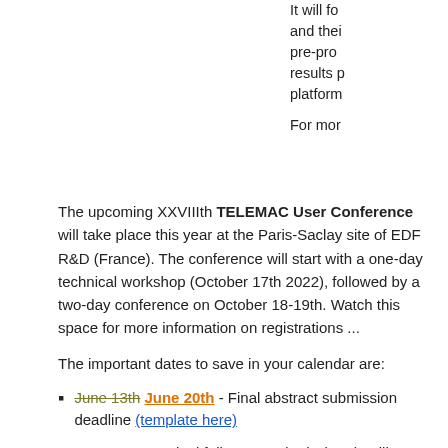It will fo and thei pre-pro results p platform
For mor
The upcoming XXVIIIth TELEMAC User Conference will take place this year at the Paris-Saclay site of EDF R&D (France). The conference will start with a one-day technical workshop (October 17th 2022), followed by a two-day conference on October 18-19th. Watch this space for more information on registrations ...
The important dates to save in your calendar are:
June 13th June 20th - Final abstract submission deadline (template here)
August 31st - Final full paper submission deadline (template here)
October 7th - Registration deadline